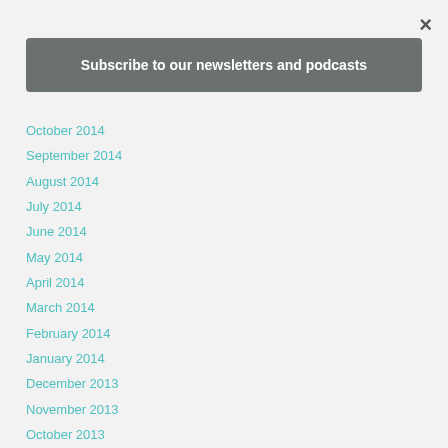×
Subscribe to our newsletters and podcasts
October 2014
September 2014
August 2014
July 2014
June 2014
May 2014
April 2014
March 2014
February 2014
January 2014
December 2013
November 2013
October 2013
September 2013
August 2013
July 2013
June 2013